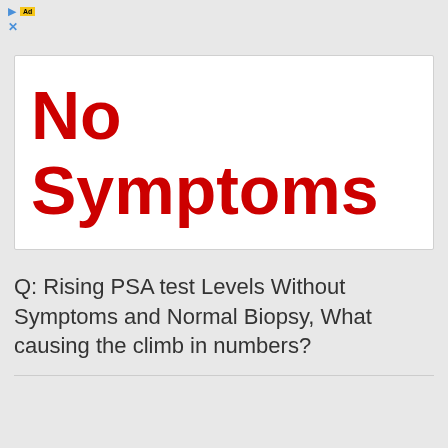[Figure (other): Advertisement banner header with yellow ad label and blue close/arrow icons at the top of the page]
No Symptoms
Q: Rising PSA test Levels Without Symptoms and Normal Biopsy, What causing the climb in numbers?